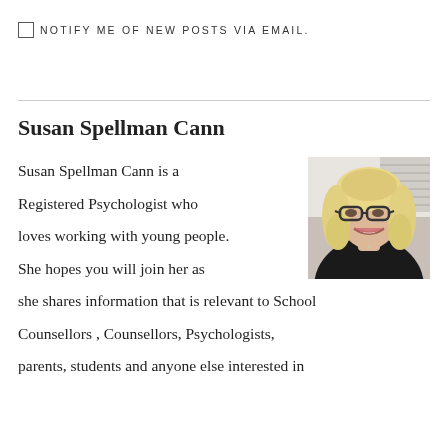NOTIFY ME OF NEW POSTS VIA EMAIL.
Susan Spellman Cann
[Figure (photo): Portrait photo of Susan Spellman Cann, a woman with blonde hair and glasses, smiling, wearing a dark top.]
Susan Spellman Cann is a Registered Psychologist who loves working with young people. She hopes you will join her as she shares information that is relevant to School Counsellors , Counsellors, Psychologists, parents, students and anyone else interested in